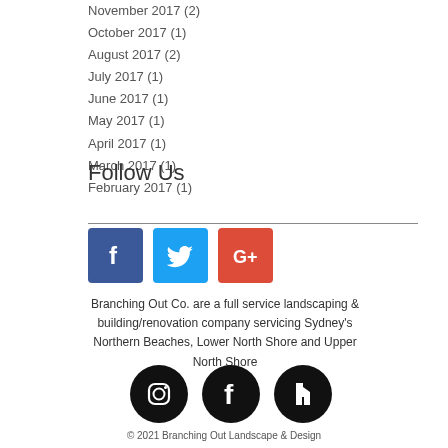November 2017 (2)
October 2017 (1)
August 2017 (2)
July 2017 (1)
June 2017 (1)
May 2017 (1)
April 2017 (1)
March 2017 (1)
February 2017 (1)
Follow Us
[Figure (infographic): Social media icons: Facebook (blue), Twitter (light blue), Google+ (red)]
Branching Out Co. are a full service landscaping & building/renovation company servicing Sydney's Northern Beaches, Lower North Shore and Upper North Shore
[Figure (infographic): Social media icons: Instagram, Facebook, Houzz — black circles]
© 2021 Branching Out Landscape & Design
SEO by My Sass...